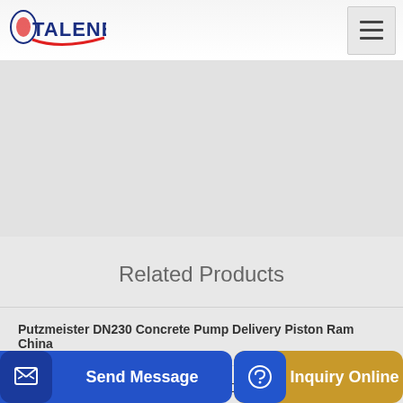TALENET
[Figure (photo): Large gray image area, appears to be a product or banner image, mostly white/gray textured background]
Related Products
Putzmeister DN230 Concrete Pump Delivery Piston Ram China
Concrete pump truck Putzmeister M 500 E
...p tru...
Send Message
Inquiry Online